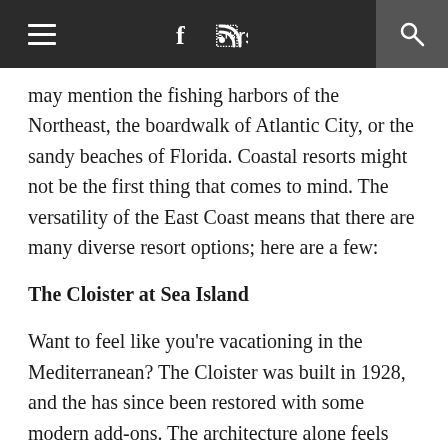≡  f ⊃ 🔍
may mention the fishing harbors of the Northeast, the boardwalk of Atlantic City, or the sandy beaches of Florida. Coastal resorts might not be the first thing that comes to mind. The versatility of the East Coast means that there are many diverse resort options; here are a few:
The Cloister at Sea Island
Want to feel like you're vacationing in the Mediterranean? The Cloister was built in 1928, and the has since been restored with some modern add-ons. The architecture alone feels exotic, and the amenities are designed for the traveler who wants to treat him or herself.